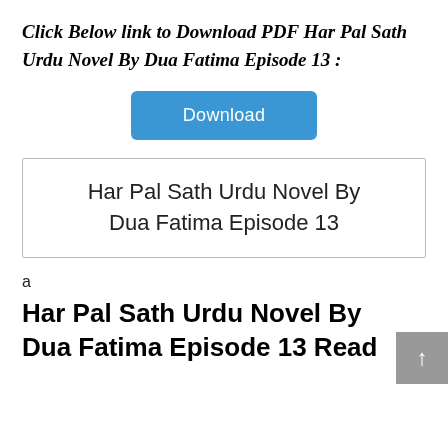Click Below link to Download PDF Har Pal Sath Urdu Novel By Dua Fatima Episode 13 :
[Figure (other): Blue Download button]
Har Pal Sath Urdu Novel By Dua Fatima Episode 13
a
Har Pal Sath Urdu Novel By Dua Fatima Episode 13 Read